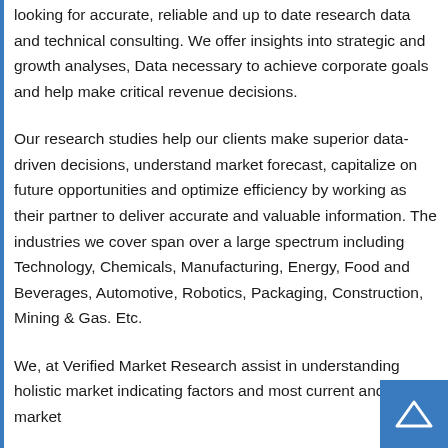looking for accurate, reliable and up to date research data and technical consulting. We offer insights into strategic and growth analyses, Data necessary to achieve corporate goals and help make critical revenue decisions.
Our research studies help our clients make superior data-driven decisions, understand market forecast, capitalize on future opportunities and optimize efficiency by working as their partner to deliver accurate and valuable information. The industries we cover span over a large spectrum including Technology, Chemicals, Manufacturing, Energy, Food and Beverages, Automotive, Robotics, Packaging, Construction, Mining & Gas. Etc.
We, at Verified Market Research assist in understanding holistic market indicating factors and most current and future market